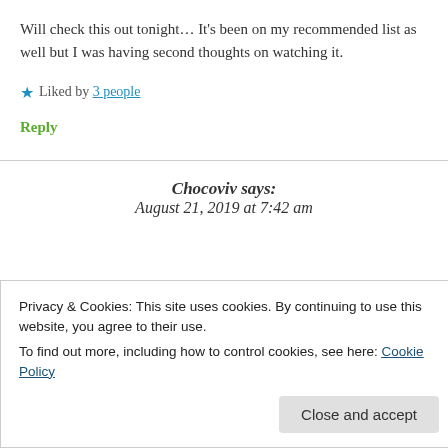Will check this out tonight... It's been on my recommended list as well but I was having second thoughts on watching it.
★ Liked by 3 people
Reply
Chocoviv says: August 21, 2019 at 7:42 am
Privacy & Cookies: This site uses cookies. By continuing to use this website, you agree to their use.
To find out more, including how to control cookies, see here: Cookie Policy
Close and accept